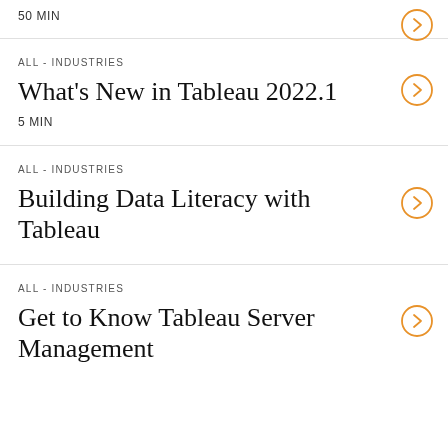50 MIN
ALL - INDUSTRIES
What's New in Tableau 2022.1
5 MIN
ALL - INDUSTRIES
Building Data Literacy with Tableau
ALL - INDUSTRIES
Get to Know Tableau Server Management